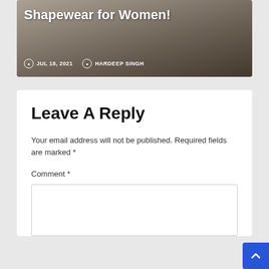[Figure (photo): Blog post thumbnail image showing women wearing shapewear, with title text overlay 'Shapewear for Women!' and metadata showing JUL 18, 2021 and author HARDEEP SINGH]
Leave A Reply
Your email address will not be published. Required fields are marked *
Comment *